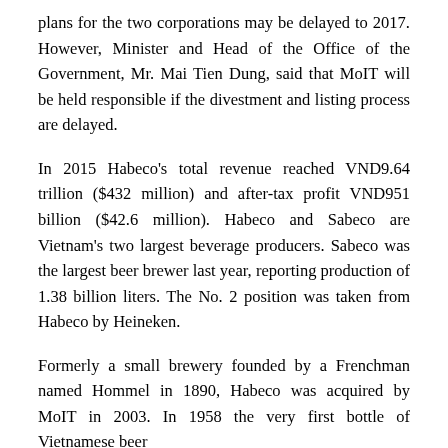plans for the two corporations may be delayed to 2017. However, Minister and Head of the Office of the Government, Mr. Mai Tien Dung, said that MoIT will be held responsible if the divestment and listing process are delayed.
In 2015 Habeco's total revenue reached VND9.64 trillion ($432 million) and after-tax profit VND951 billion ($42.6 million). Habeco and Sabeco are Vietnam's two largest beverage producers. Sabeco was the largest beer brewer last year, reporting production of 1.38 billion liters. The No. 2 position was taken from Habeco by Heineken.
Formerly a small brewery founded by a Frenchman named Hommel in 1890, Habeco was acquired by MoIT in 2003. In 1958 the very first bottle of Vietnamese beer